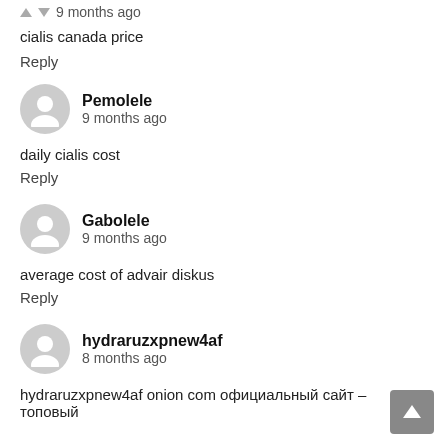9 months ago
cialis canada price
Reply
Pemolele
9 months ago
daily cialis cost
Reply
Gabolele
9 months ago
average cost of advair diskus
Reply
hydraruzxpnew4af
8 months ago
hydraruzxpnew4af onion com официальный сайт – топовый